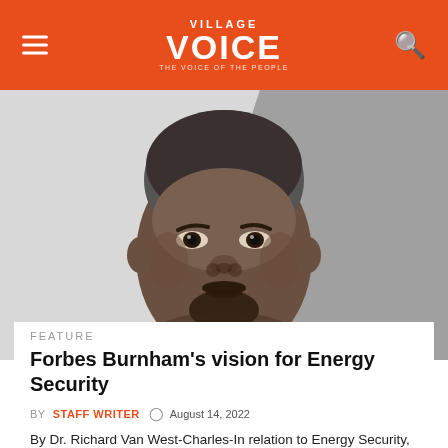Village Voice — The Voice of the People
[Figure (photo): Black and white close-up portrait photograph of Forbes Burnham, a man with a mustache and beard, looking directly at the camera, with a light background behind him.]
FEATURE
Forbes Burnham's vision for Energy Security
BY STAFF WRITER  August 14, 2022
By Dr. Richard Van West-Charles-In relation to Energy Security, it was clear that the People's National Congress (PNC) under the…
READ MORE